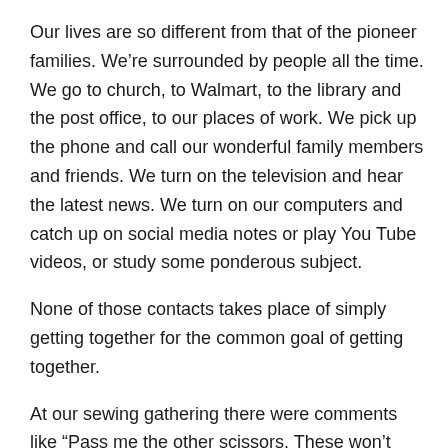Our lives are so different from that of the pioneer families. We're surrounded by people all the time. We go to church, to Walmart, to the library and the post office, to our places of work. We pick up the phone and call our wonderful family members and friends. We turn on the television and hear the latest news. We turn on our computers and catch up on social media notes or play You Tube videos, or study some ponderous subject.
None of those contacts takes place of simply getting together for the common goal of getting together.
At our sewing gathering there were comments like “Pass me the other scissors. These won’t cut.” or “Did you mean to leave this seam open?” and “What did you say these pillows are for?” Or there was a question like “Have you heard how ____________is?” One of the “girls” (we’re all